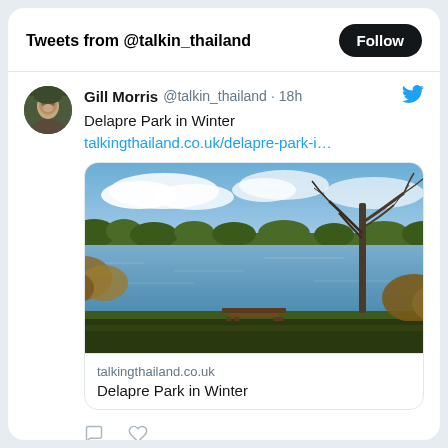Tweets from @talkin_thailand
Gill Morris @talkin_thailand · 18h
Delapre Park in Winter
talkingthailand.co.uk/delapre-park-i…
[Figure (photo): Outdoor winter scene showing a lake with bare trees, shrubs, a wooden bench in the foreground, and a blue sky with clouds]
talkingthailand.co.uk
Delapre Park in Winter